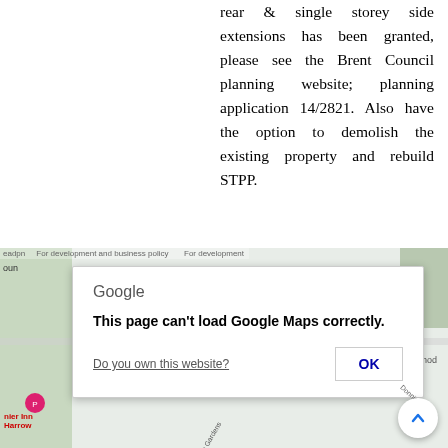rear & single storey side extensions has been granted, please see the Brent Council planning website; planning application 14/2821. Also have the option to demolish the existing property and rebuild STPP.
[Figure (screenshot): Google Maps embedded map with an error dialog overlay reading 'This page can't load Google Maps correctly.' with an OK button and a 'Do you own this website?' link. Map shows a partial street map with green areas and map markers.]